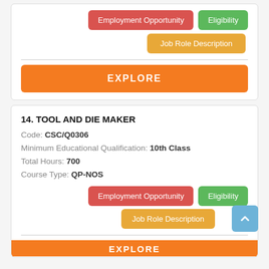[Figure (infographic): Buttons: Employment Opportunity (red), Eligibility (green), Job Role Description (yellow-orange)]
EXPLORE
14. TOOL AND DIE MAKER
Code: CSC/Q0306
Minimum Educational Qualification: 10th Class
Total Hours: 700
Course Type: QP-NOS
[Figure (infographic): Buttons: Employment Opportunity (red), Eligibility (green), Job Role Description (yellow-orange)]
EXPLORE